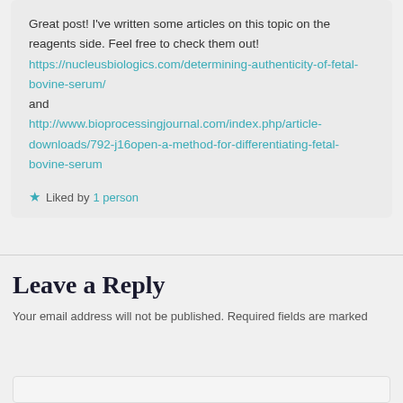Great post! I've written some articles on this topic on the reagents side. Feel free to check them out! https://nucleusbiologics.com/determining-authenticity-of-fetal-bovine-serum/ and http://www.bioprocessingjournal.com/index.php/article-downloads/792-j16open-a-method-for-differentiating-fetal-bovine-serum
Liked by 1 person
Leave a Reply
Your email address will not be published. Required fields are marked